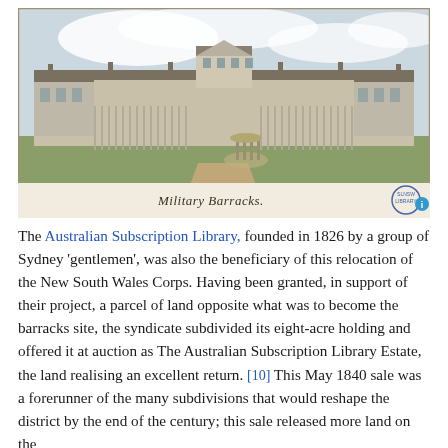[Figure (illustration): Watercolour painting of Military Barracks — a long low colonial building with colonnades and a central taller section, set in open grounds with a circular rotunda structure in the foreground. Caption below reads 'Military Barracks.' in cursive script. A library stamp appears at lower right.]
The Australian Subscription Library, founded in 1826 by a group of Sydney 'gentlemen', was also the beneficiary of this relocation of the New South Wales Corps. Having been granted, in support of their project, a parcel of land opposite what was to become the barracks site, the syndicate subdivided its eight-acre holding and offered it at auction as The Australian Subscription Library Estate, the land realising an excellent return. [10] This May 1840 sale was a forerunner of the many subdivisions that would reshape the district by the end of the century; this sale released more land on the